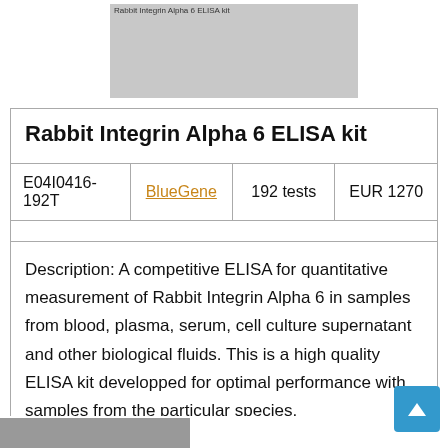[Figure (photo): Grayscale product image placeholder for Rabbit Integrin Alpha 6 ELISA kit with small label text at top]
Rabbit Integrin Alpha 6 ELISA kit
| E04I0416-192T | BlueGene | 192 tests | EUR 1270 |
| --- | --- | --- | --- |
Description: A competitive ELISA for quantitative measurement of Rabbit Integrin Alpha 6 in samples from blood, plasma, serum, cell culture supernatant and other biological fluids. This is a high quality ELISA kit developped for optimal performance with samples from the particular species.